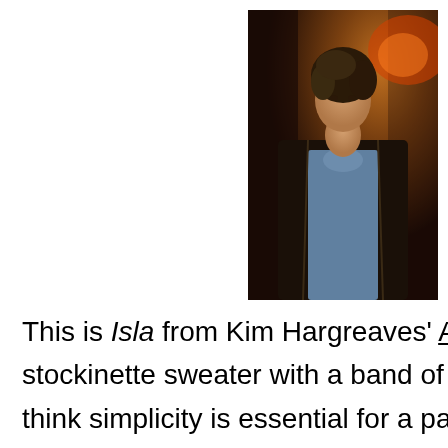[Figure (photo): A woman wearing a dark knit cardigan sweater over a patterned blouse, with curly hair, photographed indoors with warm orange lighting in the background.]
This is Isla from Kim Hargreaves' A Winter's T stockinette sweater with a band of ribbing al think simplicity is essential for a pattern that yarn. And the light colored band of lurex shim